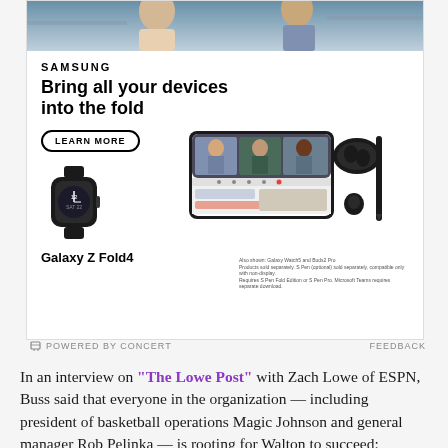[Figure (photo): Samsung Galaxy Z Fold4 advertisement showing the phone, Galaxy Watch, Galaxy Buds, and S Pen. Text reads 'SAMSUNG', 'Bring all your devices into the fold', 'LEARN MORE' button, 'Galaxy Z Fold4'. Fine print about products sold separately.]
POWERED BY CONCERT   FEEDBACK
In an interview on "The Lowe Post" with Zach Lowe of ESPN, Buss said that everyone in the organization — including president of basketball operations Magic Johnson and general manager Rob Pelinka — is rooting for Walton to succeed: